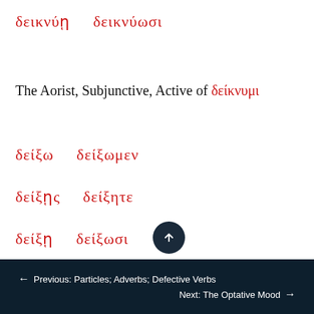δεικνύῃ   δεικνύωσι
The Aorist, Subjunctive, Active of δείκνυμι
δείξω   δείξωμεν
δείξῃς   δείξητε
δείξῃ   δείξωσι
← Previous: Particles; Adverbs; Defective Verbs    Next: The Optative Mood →